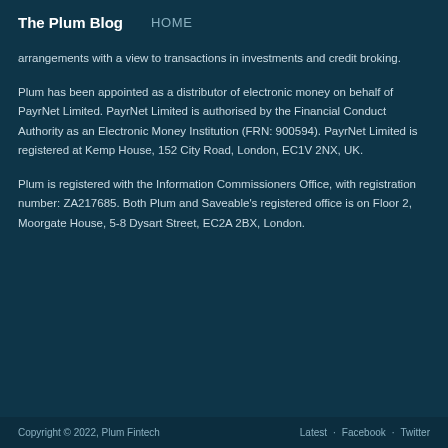The Plum Blog  HOME
arrangements with a view to transactions in investments and credit broking.
Plum has been appointed as a distributor of electronic money on behalf of PayrNet Limited. PayrNet Limited is authorised by the Financial Conduct Authority as an Electronic Money Institution (FRN: 900594). PayrNet Limited is registered at Kemp House, 152 City Road, London, EC1V 2NX, UK.
Plum is registered with the Information Commissioners Office, with registration number: ZA217685. Both Plum and Saveable's registered office is on Floor 2, Moorgate House, 5-8 Dysart Street, EC2A 2BX, London.
Copyright © 2022, Plum Fintech  Latest · Facebook · Twitter